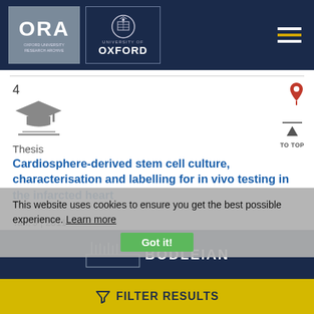ORA OXFORD UNIVERSITY RESEARCH ARCHIVE | University of Oxford
4
[Figure (illustration): Graduation cap and book icon representing a thesis document type]
Thesis
Cardiosphere-derived stem cell culture, characterisation and labelling for in vivo testing in the infarcted heart
Tan, J | 2011
This website uses cookies to ensure you get the best possible experience. Learn more
Got it!
BODLEIAN
FILTER RESULTS